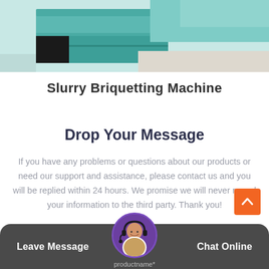[Figure (photo): Photo of a teal/turquoise slurry briquetting machine cabinet against a light floor background]
Slurry Briquetting Machine
Drop Your Message
If you have any problems or questions about our products or need our support and assistance, please contact us and you will be replied within 24 hours. We promise we will never reveal your information to the third party. Thank you!
Leave Message
Chat Online